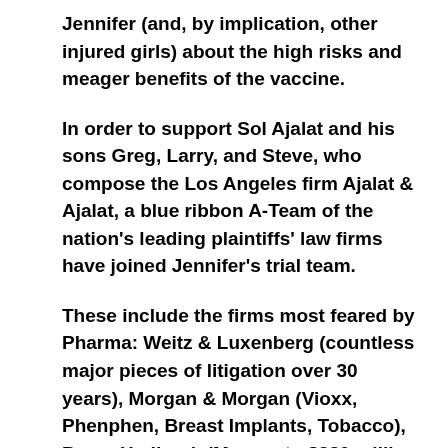Jennifer (and, by implication, other injured girls) about the high risks and meager benefits of the vaccine.
In order to support Sol Ajalat and his sons Greg, Larry, and Steve, who compose the Los Angeles firm Ajalat & Ajalat, a blue ribbon A-Team of the nation's leading plaintiffs' law firms have joined Jennifer's trial team.
These include the firms most feared by Pharma: Weitz & Luxenberg (countless major pieces of litigation over 30 years), Morgan & Morgan (Vioxx, Phenphen, Breast Implants, Tobacco), Baum Hedlund, (Monsanto $289 million verdict 2018 and the $54 million 2000 verdict against